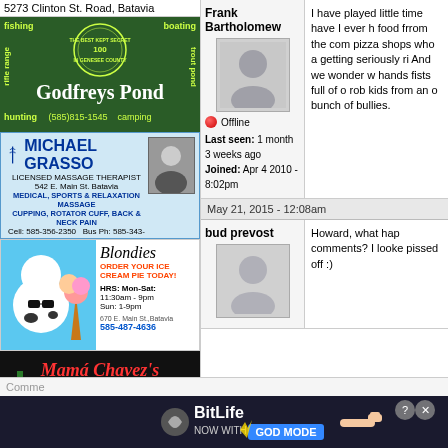5273 Clinton St. Road, Batavia
[Figure (illustration): Godfreys Pond advertisement - green background with fishing, boating, rifle range, hunting, trout pond text and phone (585)815-1545]
[Figure (illustration): Michael Grasso Licensed Massage Therapist ad - 542 E. Main St. Batavia, medical/sports/relaxation massage, cupping, rotator cuff, back & neck pain]
[Figure (illustration): Blondies ice cream ad - ORDER YOUR ICE CREAM PIE TODAY! HRS: Mon-Sat: 11:30am-9pm, Sun: 1-9pm, 670 E. Main St. Batavia, 585-487-4636]
[Figure (illustration): Mama Chavez's Taqueria - 585.502.5093, 7 Mill Street, LeRoy, Tuesday-Friday 11am to 7pm, Saturday 11am-5pm]
Frank Bartholomew
I have played little time have I ever h food frrom the com pizza shops who a getting seriously ri And we wonder w hands fists full of o rob kids from an o bunch of bullies.
Offline
Last seen: 1 month 3 weeks ago
Joined: Apr 4 2010 - 8:02pm
May 21, 2015 - 12:08am
bud prevost
Howard, what hap comments? I looke pissed off :)
Comme
[Figure (illustration): BitLife NOW WITH GOD MODE advertisement banner]